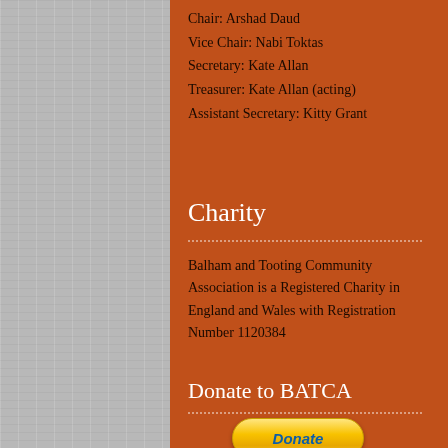Chair: Arshad Daud
Vice Chair: Nabi Toktas
Secretary: Kate Allan
Treasurer: Kate Allan (acting)
Assistant Secretary: Kitty Grant
Charity
Balham and Tooting Community Association is a Registered Charity in England and Wales with Registration Number 1120384
Donate to BATCA
[Figure (other): PayPal Donate button - yellow rounded button with italic bold blue text 'Donate']